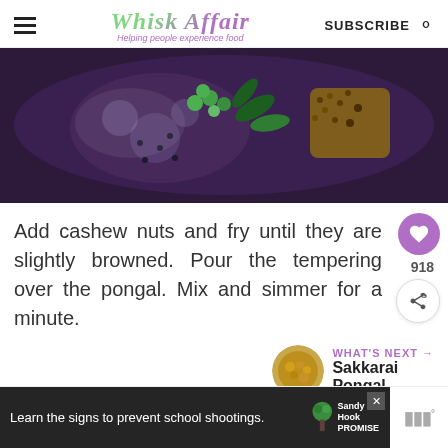Whisk Affair — Helping people experience food
[Figure (photo): Close-up of a dark cooking pan with spices, green peas, curry leaves, and seeds sizzling in oil — tempering for pongal dish]
Add cashew nuts and fry until they are slightly browned. Pour the tempering over the pongal. Mix and simmer for a minute.
918
WHAT'S NEXT → Sakkarai Pongal
[Figure (photo): Small circular thumbnail of Sakkarai Pongal dish]
Learn the signs to prevent school shootings. Sandy Hook Promise